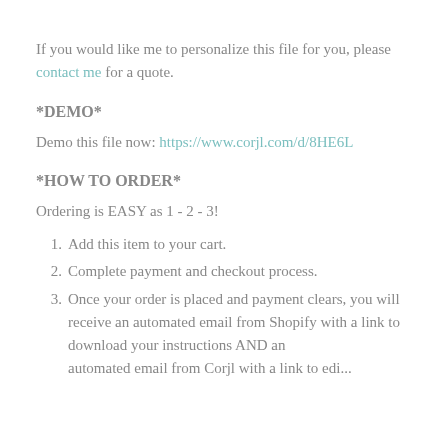If you would like me to personalize this file for you, please contact me for a quote.
*DEMO*
Demo this file now: https://www.corjl.com/d/8HE6L
*HOW TO ORDER*
Ordering is EASY as 1 - 2 - 3!
1. Add this item to your cart.
2. Complete payment and checkout process.
3. Once your order is placed and payment clears, you will receive an automated email from Shopify with a link to download your instructions AND an automated email from Corjl with a link to edit...